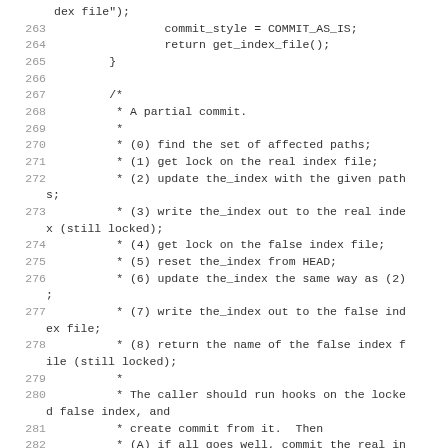Code listing lines 263-285 showing a partial commit implementation in C, with comments describing steps for handling partial commits including locking index files, updating the index, writing to false index, and rollback procedures.